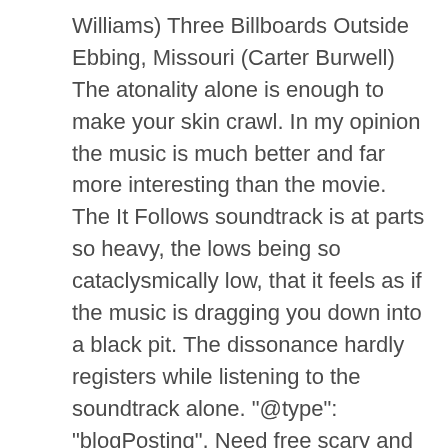Williams) Three Billboards Outside Ebbing, Missouri (Carter Burwell) The atonality alone is enough to make your skin crawl. In my opinion the music is much better and far more interesting than the movie. The It Follows soundtrack is at parts so heavy, the lows being so cataclysmically low, that it feels as if the music is dragging you down into a black pit. The dissonance hardly registers while listening to the soundtrack alone. "@type": "blogPosting", Need free scary and horror sound effects for your next media project? VAT no 918 5617 01, Bauer Consumer Media Ltd are authorised and regulated by the FCA(Ref No. From the "Shallow" to "The Middle" to the highest of "High Hopes," music was captivating at all levels in 2018. Six of the best… Horror Film Scores; Best Original Score Oscar winner in 2018. It was released on cassette for the very first time in